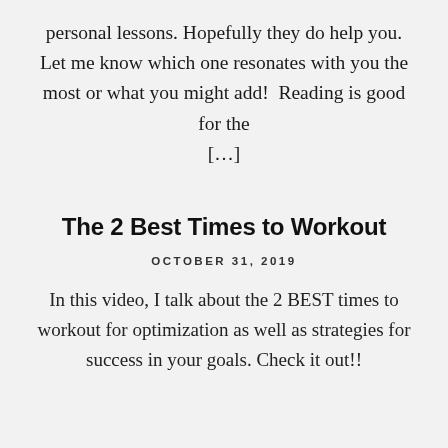personal lessons. Hopefully they do help you. Let me know which one resonates with you the most or what you might add!  Reading is good for the [...]
The 2 Best Times to Workout
OCTOBER 31, 2019
In this video, I talk about the 2 BEST times to workout for optimization as well as strategies for success in your goals. Check it out!!